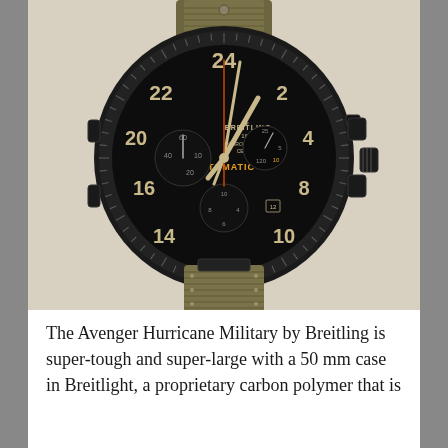[Figure (photo): Breitling Avenger Hurricane Military watch with black Breitlight case, military-style dial with luminous hour markers and 24-hour numerals (22, 24, 2, 20, 4, 16, 8, 14, 10), chronograph sub-dials, black crown and pushers on right side, olive/khaki canvas strap with stitching.]
The Avenger Hurricane Military by Breitling is super-tough and super-large with a 50 mm case in Breitlight, a proprietary carbon polymer that is